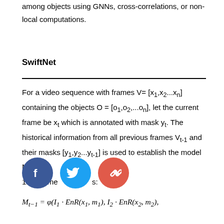among objects using GNNs, cross-correlations, or non-local computations.
SwiftNet
For a video sequence with frames V= [x₁,x₂...xₙ] containing the objects O = [o₁,o₂,...oₙ], let the current frame be xₜ which is annotated with mask yₜ. The historical information from all previous frames Vₜ₋₁ and their masks [y₁,y₂...yₜ₋₁] is used to establish the model Mₜ₋₁. to frame as follows: